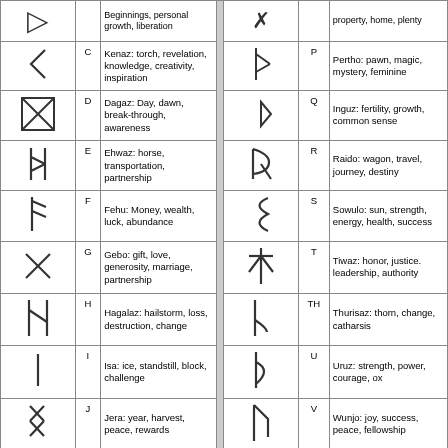| Symbol | Letter | Meaning |  | Symbol | Letter | Meaning |
| --- | --- | --- | --- | --- | --- | --- |
| [rune] |  | Beginnings, personal growth, liberation |  | [rune] |  | property, home, plenty |
| [rune] | C | Kenaz: torch, revelation, knowledge, creativity, inspiration |  | [rune] | P | Pertho: pawn, magic, mystery, feminine |
| [rune] | D | Dagaz: Day, dawn, break-through, awareness |  | [rune] | Q | Inguz: fertility, growth, common sense |
| [rune] | E | Ehwaz: horse, transportation, partnership |  | [rune] | R | Raido: wagon, travel, journey, destiny |
| [rune] | F | Fehu: Money, wealth, luck, abundance |  | [rune] | S | Sowulo: sun, strength, energy, health, success |
| [rune] | G | Gebo: gift, love, generosity, marriage, partnership |  | [rune] | T | Tiwaz: honor, justice. leadership, authority |
| [rune] | H | Hagalaz: hailstorm, loss, destruction, change |  | [rune] | TH | Thurisaz: thorn, change, catharsis |
| [rune] | I | Isa: ice, standstill, block, challenge |  | [rune] | U | Uruz: strength, power, courage, ox |
| [rune] | J | Jera: year, harvest, peace, rewards |  | [rune] | V | Wunjo: joy, success, peace, fellowship |
| [rune] | K | Kenaz: torch, revelation, knowledge, creativity, inspiration |  | [rune] | W | Wunjo: joy, success, peace, pleasure, fellowship |
| [rune] | L | Laguz: water, sea, |  | [rune] | X | Algiz: elk, |